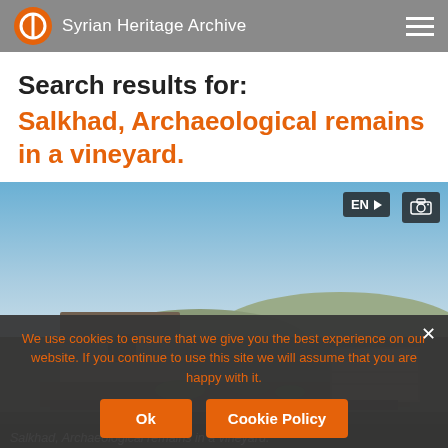Syrian Heritage Archive
Search results for:
Salkhad, Archaeological remains in a vineyard.
[Figure (photo): Archaeological stone ruins in Salkhad with a blue sky background showing ancient stone walls and structures in a vineyard area. EN badge and camera icon visible in top-right corner.]
Salkhad, Archaeological remains in a vineyard.
We use cookies to ensure that we give you the best experience on our website. If you continue to use this site we will assume that you are happy with it.